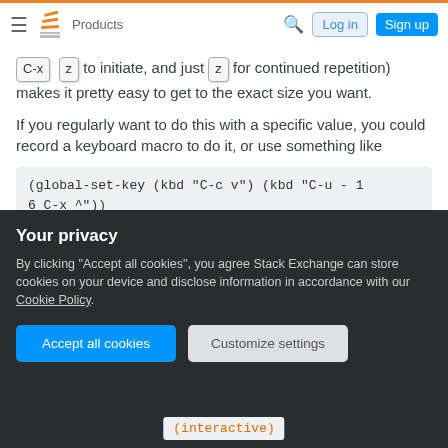Stack Exchange navigation — Products | Log in | Sign up
C-x z to initiate, and just z for continued repetition) makes it pretty easy to get to the exact size you want.
If you regularly want to do this with a specific value, you could record a keyboard macro to do it, or use something like
(global-set-key (kbd "C-c v") (kbd "C-u - 16 C-x ^"))
Or this:
(global-set-key (kbd "C-c v") (kbd "C-x ^ C-...
Your privacy
By clicking "Accept all cookies", you agree Stack Exchange can store cookies on your device and disclose information in accordance with our Cookie Policy.
Accept all cookies   Customize settings
(interactive)